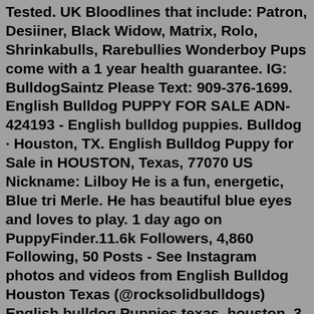Tested. UK Bloodlines that include: Patron, Desiiner, Black Widow, Matrix, Rolo, Shrinkabulls, Rarebullies Wonderboy Pups come with a 1 year health guarantee. IG: BulldogSaintz Please Text: 909-376-1699. English Bulldog PUPPY FOR SALE ADN-424193 - English bulldog puppies. Bulldog · Houston, TX. English Bulldog Puppy for Sale in HOUSTON, Texas, 77070 US Nickname: Lilboy He is a fun, energetic, Blue tri Merle. He has beautiful blue eyes and loves to play. 1 day ago on PuppyFinder.11.6k Followers, 4,860 Following, 50 Posts - See Instagram photos and videos from English Bulldog Houston Texas (@rocksolidbulldogs) English bulldog Puppies texas, houston. 3 Mini blue tri male puppies for sale looking for their furever. "English Bulldog" Puppies for sale in Housto.. #446750 We require an Adoption Application to be completed fully, Vet Check, Home Visit and Interview. Most of our English Bulldogs require vetting adoption fees will vary on age, condition and needs. Our adoption fees range from 400.00 to 750.00. Please keep in mind these are Rescue